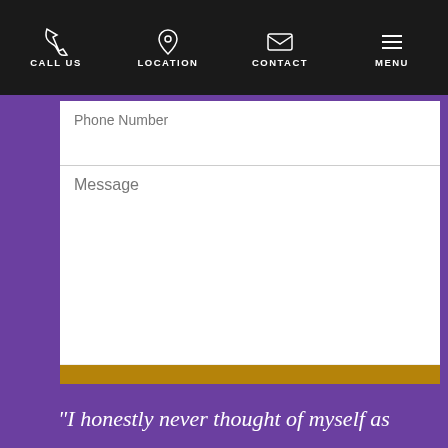CALL US | LOCATION | CONTACT | MENU
Phone Number
Message
SEND MY MESSAGE
“I honestly never thought of myself as